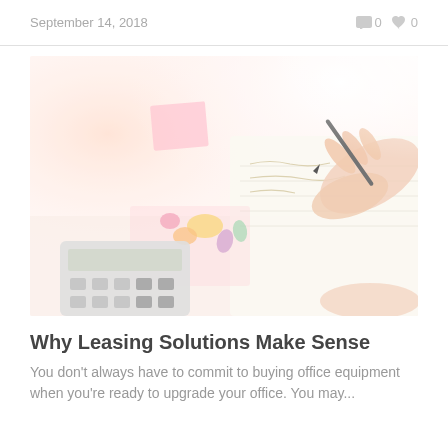September 14, 2018   💬 0   ♥ 0
[Figure (photo): A person writing in a notebook with a pen, with a calculator and colorful sticky notes/paperclips on a desk, light and airy photo with soft pink/warm tones]
Why Leasing Solutions Make Sense
You don't always have to commit to buying office equipment when you're ready to upgrade your office. You may...